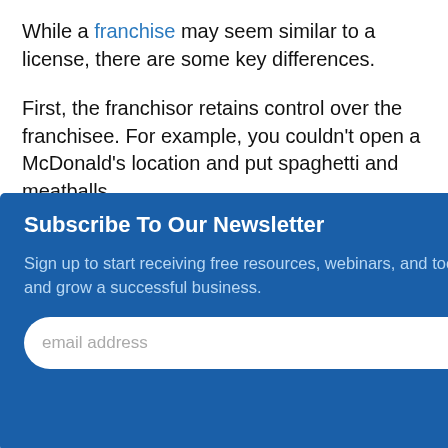While a franchise may seem similar to a license, there are some key differences.
First, the franchisor retains control over the franchisee. For example, you couldn't open a McDonald's location and put spaghetti and meatballs on the menu. The franchisor retains control over... [partially obscured by modal] franchisers are required to provide support and training to their franchisees.
[Figure (screenshot): Newsletter subscription modal overlay with dark blue background, title 'Subscribe To Our Newsletter', body text 'Sign up to start receiving free resources, webinars, and tools to help you start and grow a successful business.', email input field with placeholder 'email address', and a 'SUBMIT' button. A close (×) button is in the top right.]
Want to learn more about licensing? Take SCORE's